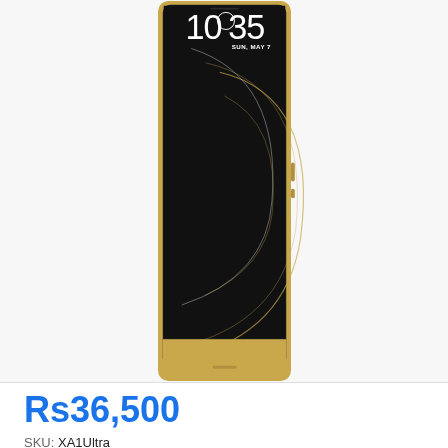[Figure (photo): Sony Xperia XA1 Ultra smartphone in gold color, showing the front face with a dark lock screen displaying time 10:35 and date SUN, MAY 7, with decorative golden swirl lines on screen. The phone has a gold frame and bottom bezel.]
Rs36,500
SKU: XA1Ultra